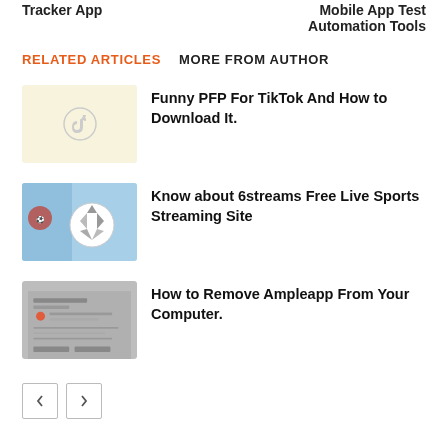Tracker App   |   Mobile App Test Automation Tools
RELATED ARTICLES   MORE FROM AUTHOR
[Figure (illustration): Thumbnail image with cream/yellow background and TikTok logo icon in center]
Funny PFP For TikTok And How to Download It.
[Figure (photo): Thumbnail image showing a soccer ball with blue sky background]
Know about 6streams Free Live Sports Streaming Site
[Figure (screenshot): Thumbnail showing a grey computer interface/screenshot]
How to Remove Ampleapp From Your Computer.